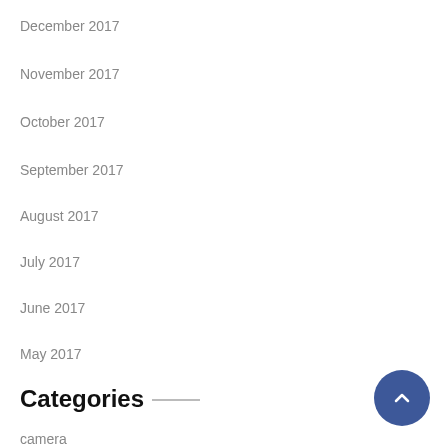December 2017
November 2017
October 2017
September 2017
August 2017
July 2017
June 2017
May 2017
Categories
camera